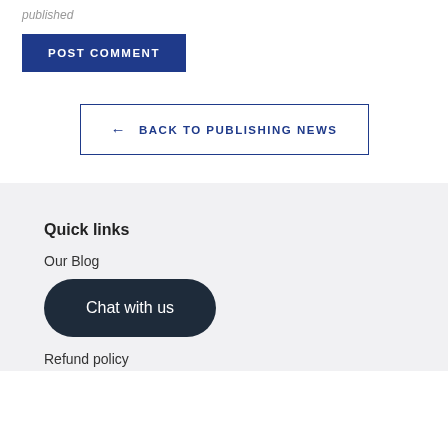published
POST COMMENT
← BACK TO PUBLISHING NEWS
Quick links
Our Blog
Chat with us
Refund policy